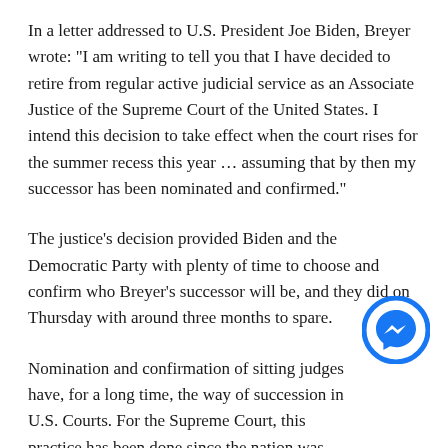In a letter addressed to U.S. President Joe Biden, Breyer wrote: "I am writing to tell you that I have decided to retire from regular active judicial service as an Associate Justice of the Supreme Court of the United States. I intend this decision to take effect when the court rises for the summer recess this year … assuming that by then my successor has been nominated and confirmed."
The justice's decision provided Biden and the Democratic Party with plenty of time to choose and confirm who Breyer's successor will be, and they did on Thursday with around three months to spare.
Nomination and confirmation of sitting judges have, for a long time, the way of succession in U.S. Courts. For the Supreme Court, this practice has been done since the nation was founded. Here are all of the Supreme Court Nominations from 1789 to the present. Given this,
It's also not the first time that a judge had been confirmed for the seat while their predecessor is still serving. However, for a Supreme Court justice, it's rare to wait a long time between confirmation and being